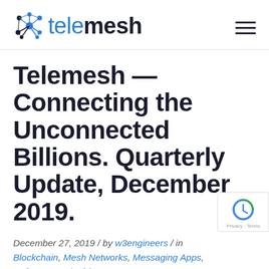telemesh
Telemesh — Connecting the Unconnected Billions. Quarterly Update, December 2019.
December 27, 2019 / by w3engineers / in Blockchain, Mesh Networks, Messaging Apps, Refugees, Unicef / Leave a Comment
At Telemesh...